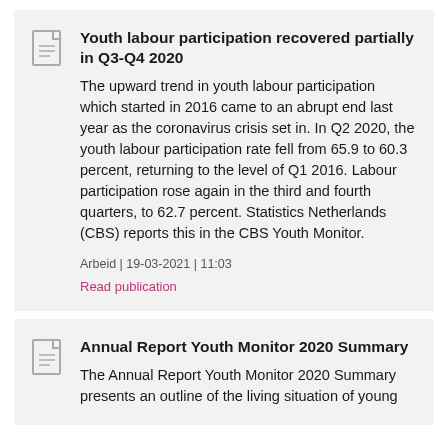Youth labour participation recovered partially in Q3-Q4 2020
The upward trend in youth labour participation which started in 2016 came to an abrupt end last year as the coronavirus crisis set in. In Q2 2020, the youth labour participation rate fell from 65.9 to 60.3 percent, returning to the level of Q1 2016. Labour participation rose again in the third and fourth quarters, to 62.7 percent. Statistics Netherlands (CBS) reports this in the CBS Youth Monitor.
Arbeid | 19-03-2021 | 11:03
Read publication
Annual Report Youth Monitor 2020 Summary
The Annual Report Youth Monitor 2020 Summary presents an outline of the living situation of young